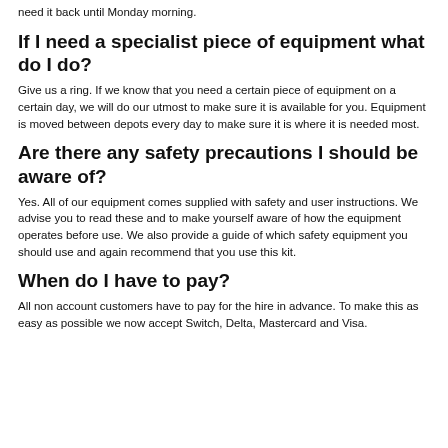need it back until Monday morning.
If I need a specialist piece of equipment what do I do?
Give us a ring. If we know that you need a certain piece of equipment on a certain day, we will do our utmost to make sure it is available for you. Equipment is moved between depots every day to make sure it is where it is needed most.
Are there any safety precautions I should be aware of?
Yes. All of our equipment comes supplied with safety and user instructions. We advise you to read these and to make yourself aware of how the equipment operates before use. We also provide a guide of which safety equipment you should use and again recommend that you use this kit.
When do I have to pay?
All non account customers have to pay for the hire in advance. To make this as easy as possible we now accept Switch, Delta, Mastercard and Visa.